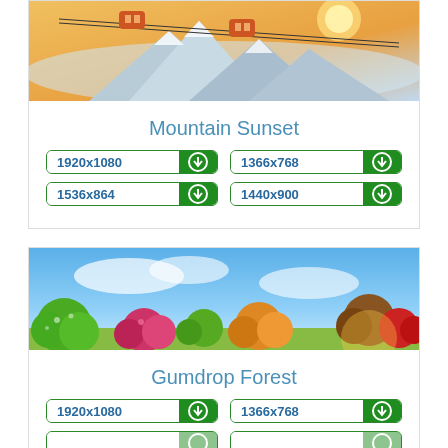[Figure (photo): Mountain sunset scene with cable car gondolas over snowy peaks and warm glowing sky]
Mountain Sunset
1920x1080 download button
1366x768 download button
1536x864 download button
1440x900 download button
[Figure (photo): Gumdrop Forest fantasy scene with colorful candy-like trees and bushes under a blue sky]
Gumdrop Forest
1920x1080 download button
1366x768 download button
partial row download buttons